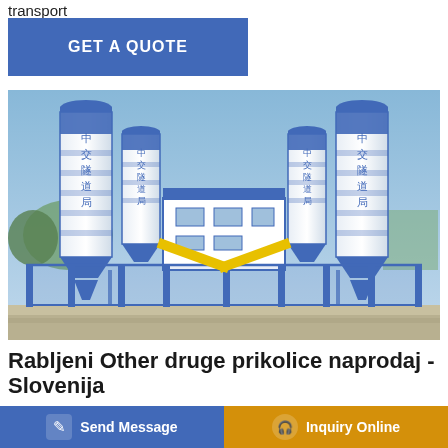transport
GET A QUOTE
[Figure (photo): Industrial concrete batching plant with large blue and white silos marked with Chinese characters, central control building, yellow diagonal conveyor arms, and blue steel frame structure.]
Rabljeni Other druge prikolice naprodaj - Slovenija
*Sonstige Transport Anhänger (1) *Sonstige Viking Trailer (3)
ZG J2
Naprej, 01 julij 2021: Mednarodna prodaja rabljenih avtobusov
Send Message
Inquiry Online